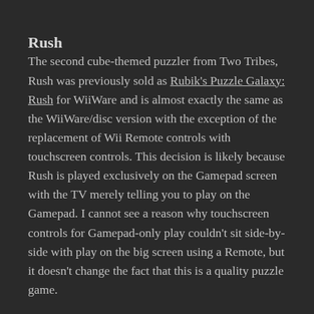Rush
The second cube-themed puzzler from Two Tribes, Rush was previously sold as Rubik's Puzzle Galaxy: Rush for WiiWare and is almost exactly the same as the WiiWare/disc version with the exception of the replacement of Wii Remote controls with touchscreen controls. This decision is likely because Rush is played exclusively on the Gamepad screen with the TV merely telling you to play on the Gamepad. I cannot see a reason why touchscreen controls for Gamepad-only play couldn't sit side-by-side with play on the big screen using a Remote, but it doesn't change the fact that this is a quality puzzle game.
Play consists of placing directional tiles on a series of paths floating in space, with the goal being to get